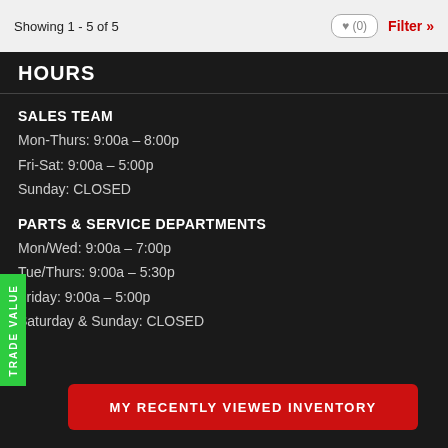Showing 1 - 5 of 5
HOURS
SALES TEAM
Mon-Thurs: 9:00a – 8:00p
Fri-Sat: 9:00a – 5:00p
Sunday: CLOSED
PARTS & SERVICE DEPARTMENTS
Mon/Wed: 9:00a – 7:00p
Tue/Thurs: 9:00a – 5:30p
Friday: 9:00a – 5:00p
Saturday & Sunday: CLOSED
TRADE VALUE
MY RECENTLY VIEWED INVENTORY